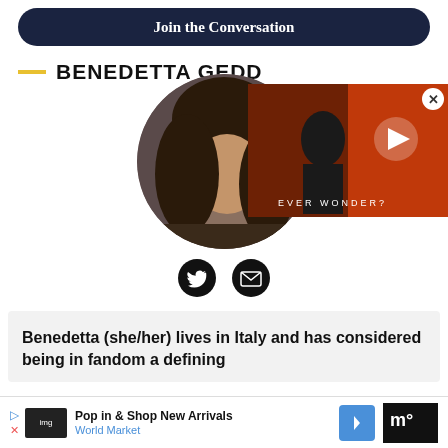Join the Conversation
BENEDETTA GEDD
[Figure (photo): Circular profile photo of Benedetta, a woman with dark curly hair, partially overlapped by a video player showing a movie advertisement with a man on a red/orange background and text 'EVER WONDER?']
Benedetta (she/her) lives in Italy and has considered being in fandom a defining
Pop in & Shop New Arrivals World Market